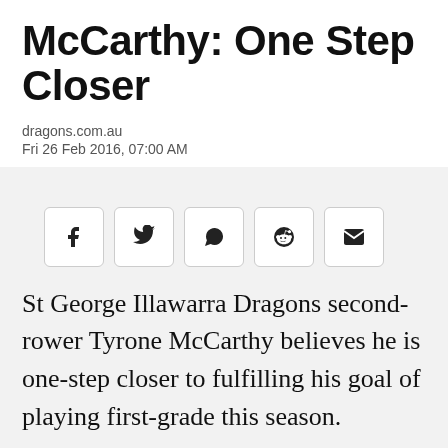McCarthy: One Step Closer
dragons.com.au
Fri 26 Feb 2016, 07:00 AM
[Figure (infographic): Social share buttons: Facebook, Twitter, WhatsApp, Reddit, Email]
St George Illawarra Dragons second-rower Tyrone McCarthy believes he is one-step closer to fulfilling his goal of playing first-grade this season.